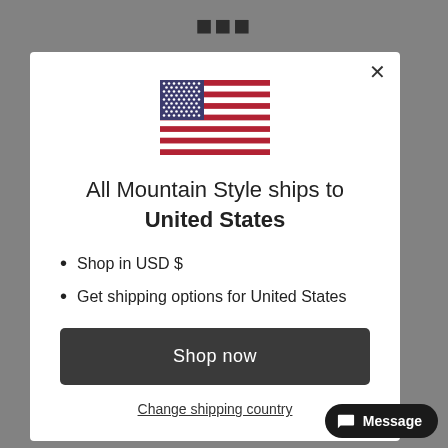[Figure (screenshot): Background of an e-commerce website (All Mountain Style) with grey overlay, showing partial logo and product text at bottom.]
[Figure (illustration): United States flag SVG illustration inside a modal dialog.]
All Mountain Style ships to United States
Shop in USD $
Get shipping options for United States
Shop now
Change shipping country